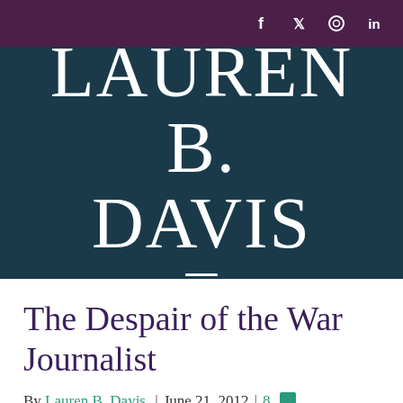Social icons: Facebook, Twitter, Pinterest, LinkedIn
LAUREN B. DAVIS
[Figure (other): Hamburger menu icon (three horizontal lines)]
The Despair of the War Journalist
By Lauren B. Davis | June 21, 2012 | 8 comments